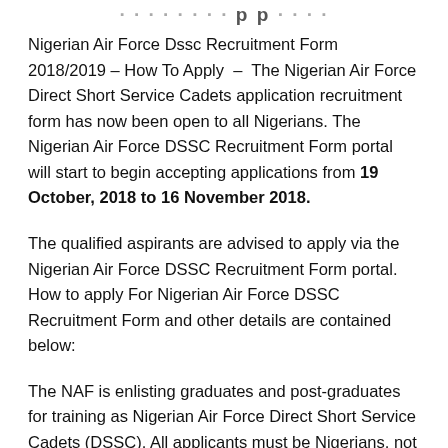… p p …
Nigerian Air Force Dssc Recruitment Form 2018/2019 – How To Apply – The Nigerian Air Force Direct Short Service Cadets application recruitment form has now been open to all Nigerians. The Nigerian Air Force DSSC Recruitment Form portal will start to begin accepting applications from 19 October, 2018 to 16 November 2018.
The qualified aspirants are advised to apply via the Nigerian Air Force DSSC Recruitment Form portal. How to apply For Nigerian Air Force DSSC Recruitment Form and other details are contained below:
The NAF is enlisting graduates and post-graduates for training as Nigerian Air Force Direct Short Service Cadets (DSSC). All applicants must be Nigerians, not less than 1.66m tall for male and not less than 1.63m tall for female.